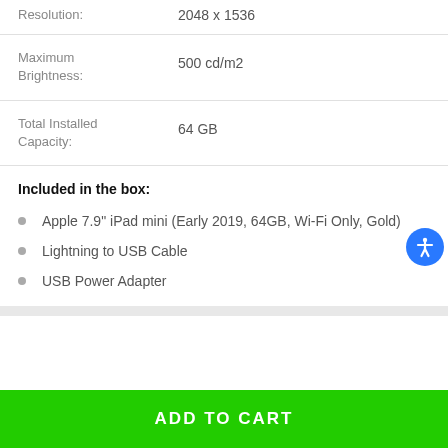| Attribute | Value |
| --- | --- |
| Resolution: | 2048 x 1536 |
| Maximum Brightness: | 500 cd/m2 |
| Total Installed Capacity: | 64 GB |
Included in the box:
Apple 7.9" iPad mini (Early 2019, 64GB, Wi-Fi Only, Gold)
Lightning to USB Cable
USB Power Adapter
ADD TO CART